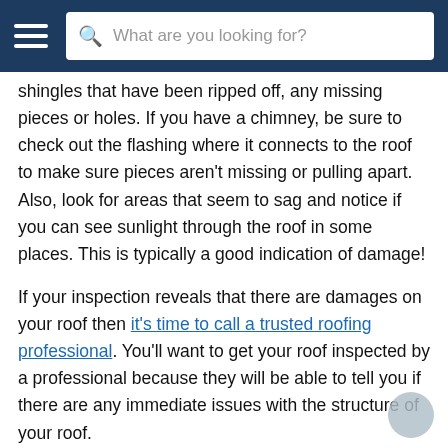What are you looking for?
shingles that have been ripped off, any missing pieces or holes. If you have a chimney, be sure to check out the flashing where it connects to the roof to make sure pieces aren't missing or pulling apart. Also, look for areas that seem to sag and notice if you can see sunlight through the roof in some places. This is typically a good indication of damage!
If your inspection reveals that there are damages on your roof then it's time to call a trusted roofing professional. You'll want to get your roof inspected by a professional because they will be able to tell you if there are any immediate issues with the structure of your roof.
Whether or not you find damages on closer inspection, it's good practice and well worth the time and money spent to have a pro come out and do an even more thorough check